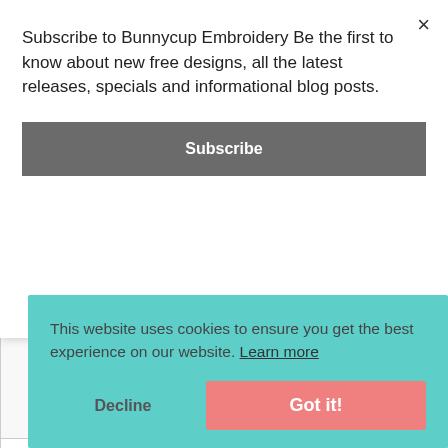[Figure (illustration): Two embroidery font sample cells showing letter pairs 'Gg' and 'Hh' in purple embroidered style on white background with blue guide lines, partially visible behind subscribe modal]
Set Purchase Only
Set Purchase Only
Milk and Cookies Font 1
Milk and Cookies Font 1
Subscribe to Bunnycup Embroidery Be the first to know about new free designs, all the latest releases, specials and informational blog posts.
Subscribe
This website uses cookies to ensure you get the best experience on our website. Learn more
Decline
Got it!